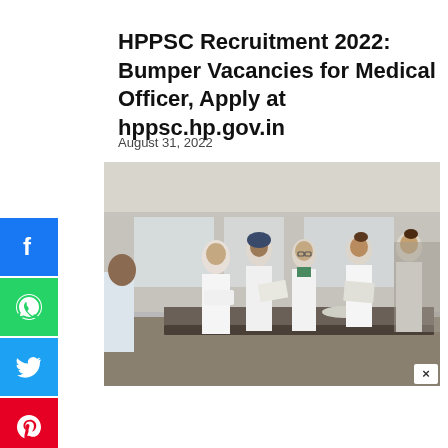HPPSC Recruitment 2022: Bumper Vacancies for Medical Officer, Apply at hppsc.hp.gov.in
August 31, 2022
[Figure (photo): Group of medical students or doctors in white lab coats gathered around a laboratory table, appearing to work on a practical exercise. A man in a turban is visible in the background. The setting appears to be a medical college laboratory.]